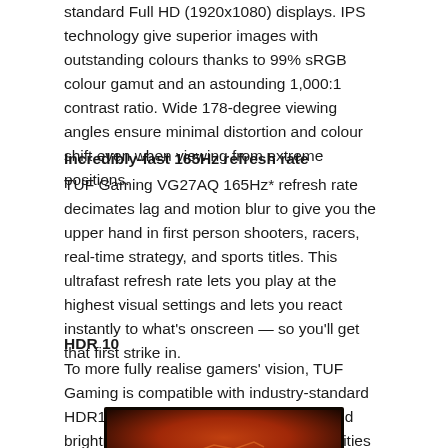standard Full HD (1920x1080) displays. IPS technology give superior images with outstanding colours thanks to 99% sRGB colour gamut and an astounding 1,000:1 contrast ratio. Wide 178-degree viewing angles ensure minimal distortion and colour shift even when viewing from extreme positions.
Incredibly-fast 165Hz refresh rate
TUF Gaming VG27AQ 165Hz* refresh rate decimates lag and motion blur to give you the upper hand in first person shooters, racers, real-time strategy, and sports titles. This ultrafast refresh rate lets you play at the highest visual settings and lets you react instantly to what’s onscreen — so you’ll get that first strike in.
HDR 10
To more fully realise gamers’ vision, TUF Gaming is compatible with industry-standard HDR10 high dynamic range for colour and brightness levels that exceed the capabilities of non HDR monitors.
[Figure (photo): Monitor displaying a scenic landscape with warm orange/brown tones, likely a desert or planetary scene.]